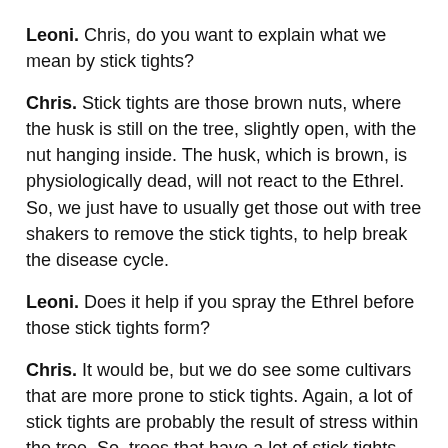Leoni. Chris, do you want to explain what we mean by stick tights?
Chris. Stick tights are those brown nuts, where the husk is still on the tree, slightly open, with the nut hanging inside. The husk, which is brown, is physiologically dead, will not react to the Ethrel. So, we just have to usually get those out with tree shakers to remove the stick tights, to help break the disease cycle.
Leoni. Does it help if you spray the Ethrel before those stick tights form?
Chris. It would be, but we do see some cultivars that are more prone to stick tights. Again, a lot of stick tights are probably the result of stress within the tree. So, trees that have a lot of stick tights are often stressed trees, and because of this you wouldn't actually go and apply the Ethrel anyway. And if you wanted to go down this road,